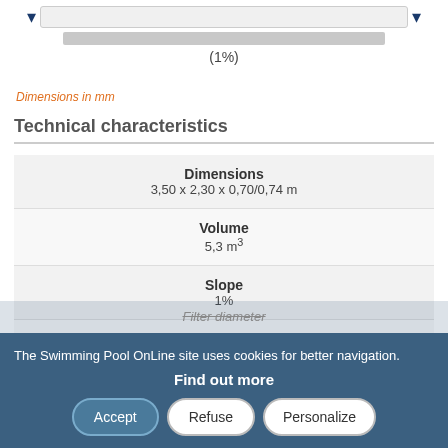[Figure (other): Slider bar UI element with blue arrows on each side and a gray progress bar showing slope value, with label (1%)]
Dimensions in mm
Technical characteristics
| Dimensions | 3,50 x 2,30 x 0,70/0,74 m |
| Volume | 5,3 m³ |
| Slope | 1% |
| Weight | 230 kg |
| Filter flow | 4/5m³/h |
| Filter diameter |  |
The Swimming Pool OnLine site uses cookies for better navigation.
Find out more
Accept
Refuse
Personalize